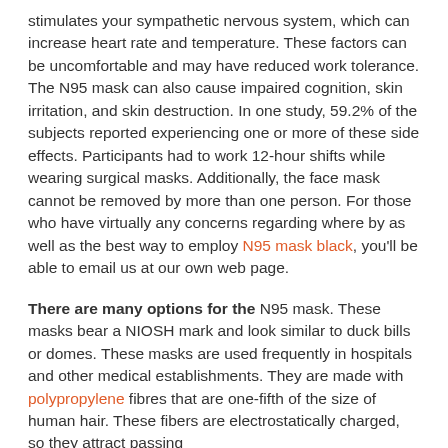stimulates your sympathetic nervous system, which can increase heart rate and temperature. These factors can be uncomfortable and may have reduced work tolerance. The N95 mask can also cause impaired cognition, skin irritation, and skin destruction. In one study, 59.2% of the subjects reported experiencing one or more of these side effects. Participants had to work 12-hour shifts while wearing surgical masks. Additionally, the face mask cannot be removed by more than one person. For those who have virtually any concerns regarding where by as well as the best way to employ N95 mask black, you'll be able to email us at our own web page.
There are many options for the N95 mask. These masks bear a NIOSH mark and look similar to duck bills or domes. These masks are used frequently in hospitals and other medical establishments. They are made with polypropylene fibres that are one-fifth of the size of human hair. These fibers are electrostatically charged, so they attract passing